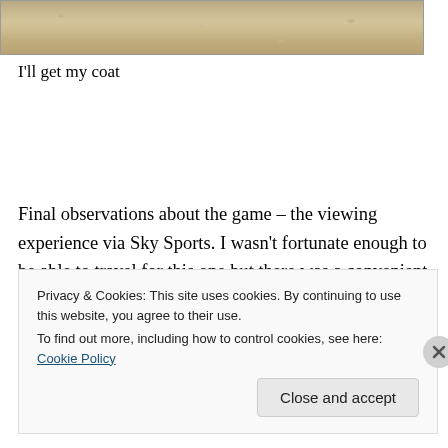[Figure (photo): Close-up photograph of sandy/gravelly ground texture, tan and beige tones]
I'll get my coat
Final observations about the game – the viewing experience via Sky Sports. I wasn't fortunate enough to be able to travel for this one but there was a convenient alternative. TV.
Privacy & Cookies: This site uses cookies. By continuing to use this website, you agree to their use.
To find out more, including how to control cookies, see here: Cookie Policy
Close and accept